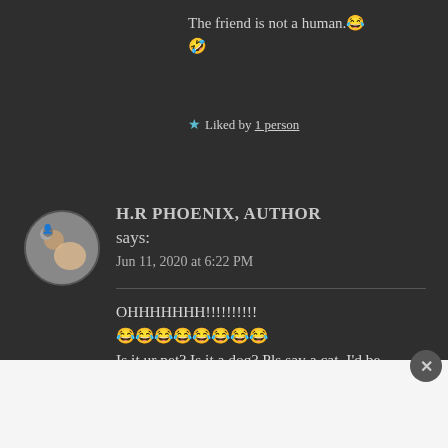The friend is not a human.😂
🤣
★ Liked by 1 person
H.R PHOENIX, AUTHOR says:
Jun 11, 2020 at 6:22 PM
OHHHHHHH!!!!!!!!!!😂😂😂😂😂😂😂😂
Is it ur pet? Is it a dog? Pls say a cat, I'd be delighted if it was a
Advertisements
Build a writing habit.
Post on the go.
GET THE APP